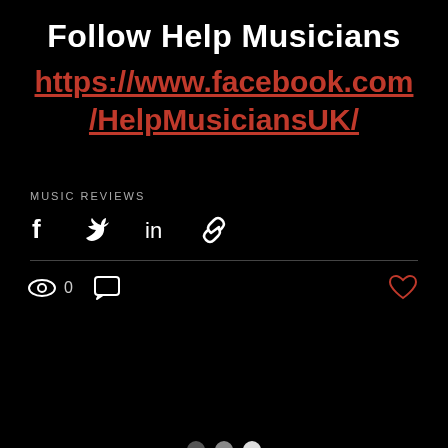Follow Help Musicians
https://www.facebook.com/HelpMusiciansUK/
MUSIC REVIEWS
[Figure (other): Social share icons: Facebook, Twitter, LinkedIn, Link]
[Figure (other): View count (eye icon, 0), comment icon, and heart/like icon]
[Figure (other): Pagination dots: three dots (dark, mid, light)]